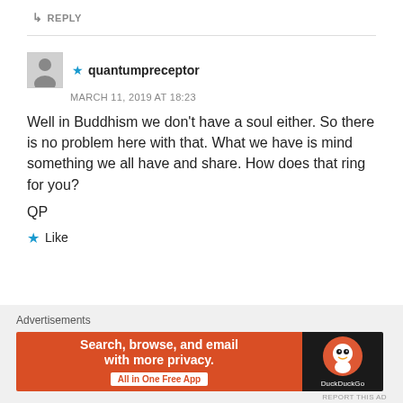↳ REPLY
★ quantumpreceptor
MARCH 11, 2019 AT 18:23
Well in Buddhism we don't have a soul either. So there is no problem here with that. What we have is mind something we all have and share. How does that ring for you?

QP
★ Like
Advertisements
[Figure (screenshot): DuckDuckGo advertisement banner: orange section with 'Search, browse, and email with more privacy.' and 'All in One Free App' button, black section with DuckDuckGo duck logo and brand name.]